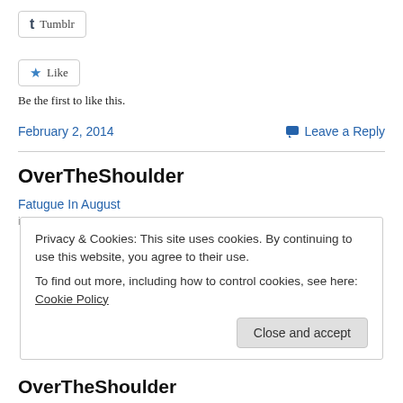[Figure (other): Tumblr share button with 't' logo]
[Figure (other): Like button with blue star icon]
Be the first to like this.
February 2, 2014
Leave a Reply
OverTheShoulder
Fatugue In August
Privacy & Cookies: This site uses cookies. By continuing to use this website, you agree to their use. To find out more, including how to control cookies, see here: Cookie Policy
Close and accept
OverTheShoulder